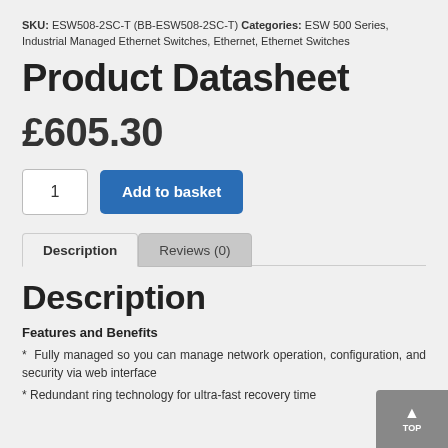SKU: ESW508-2SC-T (BB-ESW508-2SC-T) Categories: ESW 500 Series, Industrial Managed Ethernet Switches, Ethernet, Ethernet Switches
Product Datasheet
£605.30
1  Add to basket
Description   Reviews (0)
Description
Features and Benefits
* Fully managed so you can manage network operation, configuration, and security via web interface
* Redundant ring technology for ultra-fast recovery time